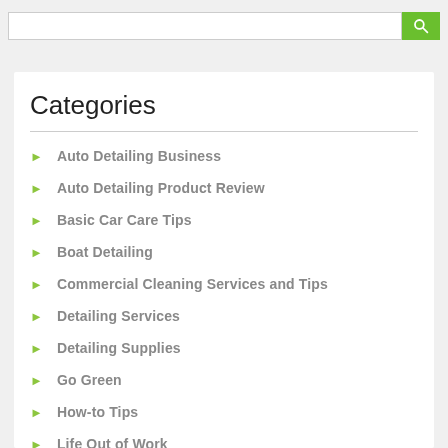Categories
Auto Detailing Business
Auto Detailing Product Review
Basic Car Care Tips
Boat Detailing
Commercial Cleaning Services and Tips
Detailing Services
Detailing Supplies
Go Green
How-to Tips
Life Out of Work